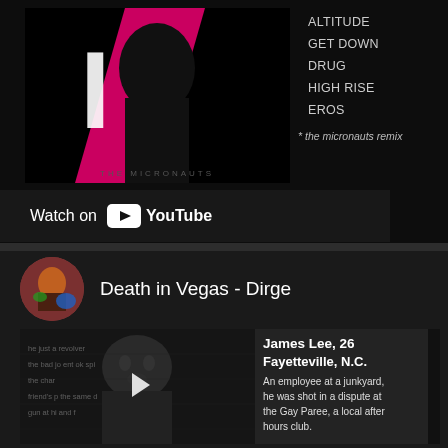[Figure (screenshot): YouTube screenshot showing two video entries. Top: album art for The Micronauts with track listing (Altitude, Get Down, Drug, High Rise, Eros) and note '* the micronauts remix'. Watch on YouTube bar below. Bottom: Death in Vegas - Dirge video with channel avatar and video thumbnail showing James Lee, 26, Fayetteville, N.C. description text.]
ALTITUDE
GET DOWN
DRUG
HIGH RISE
EROS
* the micronauts remix
Watch on YouTube
Death in Vegas - Dirge
James Lee, 26
Fayetteville, N.C.
An employee at a junkyard, he was shot in a dispute at the Gay Paree, a local after hours club.